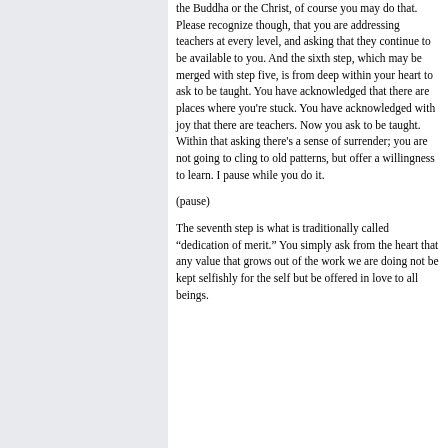the Buddha or the Christ, of course you may do that. Please recognize though, that you are addressing teachers at every level, and asking that they continue to be available to you. And the sixth step, which may be merged with step five, is from deep within your heart to ask to be taught. You have acknowledged that there are places where you're stuck. You have acknowledged with joy that there are teachers. Now you ask to be taught. Within that asking there's a sense of surrender; you are not going to cling to old patterns, but offer a willingness to learn. I pause while you do it.
(pause)
The seventh step is what is traditionally called “dedication of merit.” You simply ask from the heart that any value that grows out of the work we are doing not be kept selfishly for the self but be offered in love to all beings.